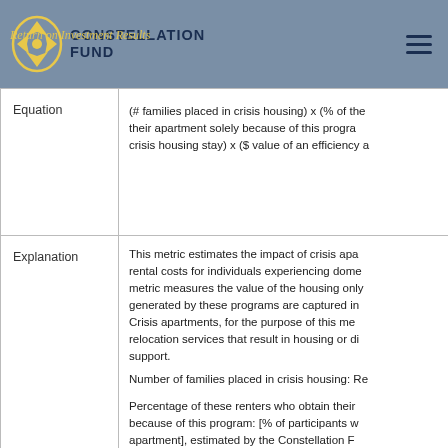Constellation Fund — Return on Investment Results
|  |  |
| --- | --- |
| Equation | (# families placed in crisis housing) x (% of these renters who obtain their apartment solely because of this program and crisis housing stay) x ($ value of an efficiency a... |
| Explanation | This metric estimates the impact of crisis apartments on rental costs for individuals experiencing domestic... metric measures the value of the housing only, ...generated by these programs are captured in... Crisis apartments, for the purpose of this me... relocation services that result in housing or di... support.
Number of families placed in crisis housing: Re...

Percentage of these renters who obtain their ... because of this program: [% of participants w... apartment], estimated by the Constellation F... program. We usually use 100% for programs... |